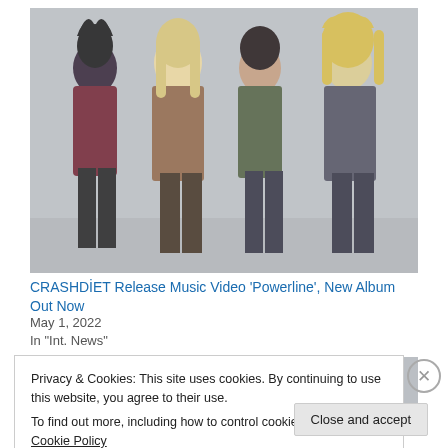[Figure (photo): Four members of the rock band CRASHDİET posing in front of a gray background, wearing glam rock outfits with leather, studs, and dramatic makeup with teased hair.]
CRASHDİET Release Music Video 'Powerline', New Album Out Now
May 1, 2022
In "Int. News"
[Figure (photo): Partially visible photo of band members cropped at the top.]
Privacy & Cookies: This site uses cookies. By continuing to use this website, you agree to their use.
To find out more, including how to control cookies, see here: Cookie Policy
Close and accept